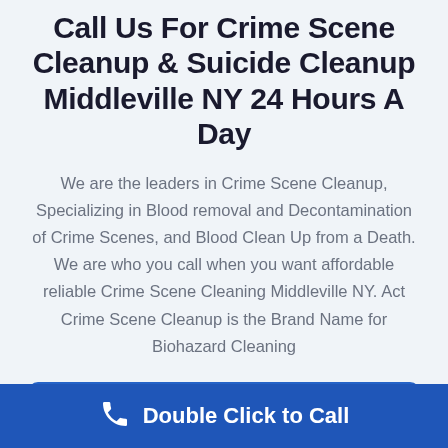Call Us For Crime Scene Cleanup & Suicide Cleanup Middleville NY 24 Hours A Day
We are the leaders in Crime Scene Cleanup, Specializing in Blood removal and Decontamination of Crime Scenes, and Blood Clean Up from a Death. We are who you call when you want affordable reliable Crime Scene Cleaning Middleville NY. Act Crime Scene Cleanup is the Brand Name for Biohazard Cleaning
CLICK TO CALL
Double Click to Call